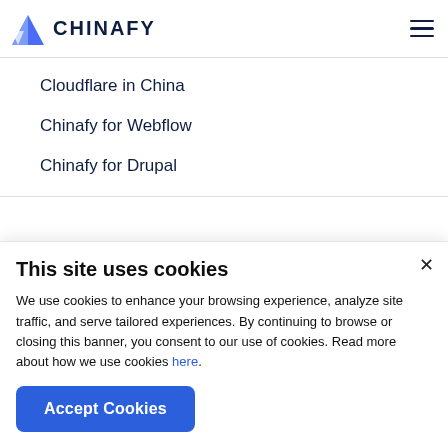CHINAFY
Cloudflare in China
Chinafy for Webflow
Chinafy for Drupal
Chinafy vs. CDN
Chinafy vs. Cloudflare CDN
This site uses cookies
We use cookies to enhance your browsing experience, analyze site traffic, and serve tailored experiences. By continuing to browse or closing this banner, you consent to our use of cookies. Read more about how we use cookies here.
Accept Cookies